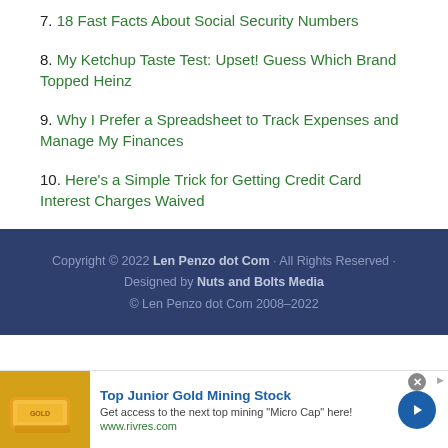7. 18 Fast Facts About Social Security Numbers
8. My Ketchup Taste Test: Upset! Guess Which Brand Topped Heinz
9. Why I Prefer a Spreadsheet to Track Expenses and Manage My Finances
10. Here's a Simple Trick for Getting Credit Card Interest Charges Waived
Copyright © 2022 Len Penzo dot Com · All Rights Reserved · Designed by Nuts and Bolts Media © Len Penzo dot Com 2008–2022
[Figure (other): Advertisement banner for Top Junior Gold Mining Stock with gold bar image and call-to-action button]